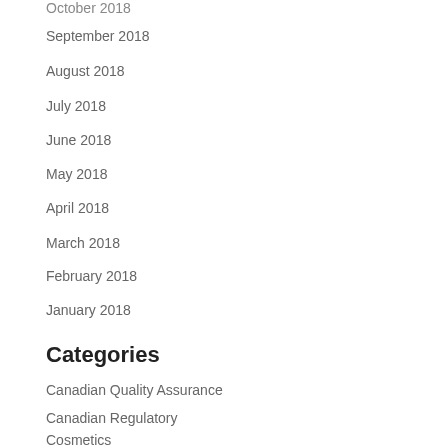October 2018
September 2018
August 2018
July 2018
June 2018
May 2018
April 2018
March 2018
February 2018
January 2018
Categories
Canadian Quality Assurance
Canadian Regulatory
Cosmetics